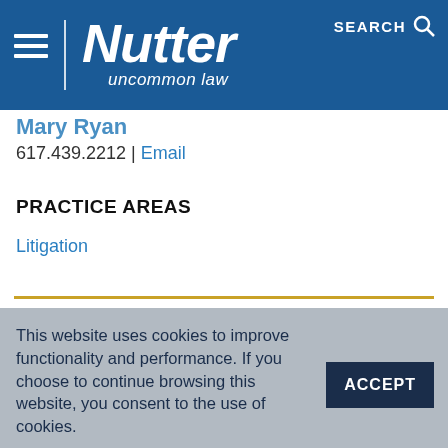Nutter — uncommon law | SEARCH
Mary Ryan
617.439.2212 | Email
PRACTICE AREAS
Litigation
This website uses cookies to improve functionality and performance. If you choose to continue browsing this website, you consent to the use of cookies.